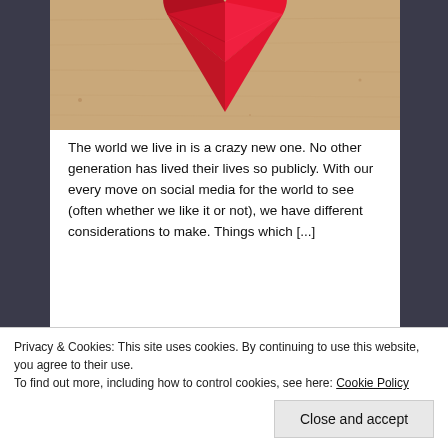[Figure (photo): Red origami/paper heart on a tan cardboard background, photographed from above]
The world we live in is a crazy new one.  No other generation has lived their lives so publicly.  With our every move on social media for the world to see (often whether we like it or not), we have different considerations to make.  Things which [...]
The Butterfly, The One & Mr
Privacy & Cookies: This site uses cookies. By continuing to use this website, you agree to their use.
To find out more, including how to control cookies, see here: Cookie Policy
Close and accept